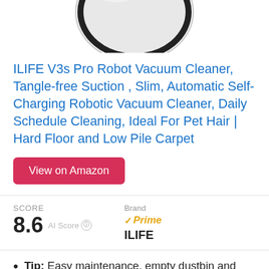[Figure (photo): Top portion of a white circular robot vacuum cleaner with black ring detail, cropped at the top of the page]
ILIFE V3s Pro Robot Vacuum Cleaner, Tangle-free Suction , Slim, Automatic Self-Charging Robotic Vacuum Cleaner, Daily Schedule Cleaning, Ideal For Pet Hair❙ Hard Floor and Low Pile Carpet
View on Amazon
SCORE 8.6 AI Score  Brand ✓Prime ILIFE
Tip: Easy maintenance, empty dustbin and clean the filter after each use. Replace filter every month.
Anti-dropping sensors prevent dangerous drop-